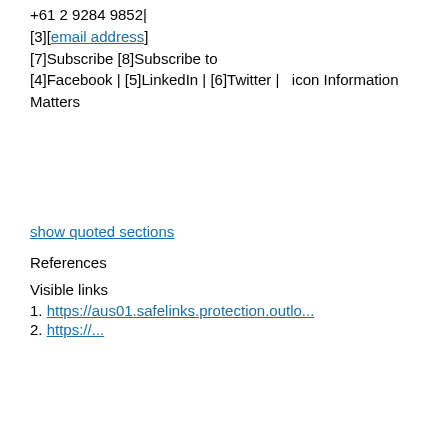+61 2 9284 9852|
[3][email address]
[7]Subscribe [8]Subscribe to
[4]Facebook | [5]LinkedIn | [6]Twitter |   icon Information
Matters
show quoted sections
References
Visible links
1. https://aus01.safelinks.protection.outlo...
2. https://...